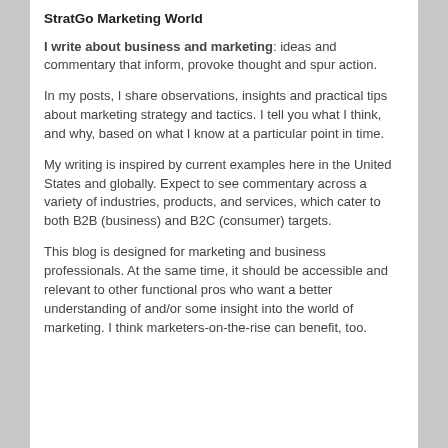StratGo Marketing World
I write about business and marketing: ideas and commentary that inform, provoke thought and spur action.
In my posts, I share observations, insights and practical tips about marketing strategy and tactics. I tell you what I think, and why, based on what I know at a particular point in time.
My writing is inspired by current examples here in the United States and globally. Expect to see commentary across a variety of industries, products, and services, which cater to both B2B (business) and B2C (consumer) targets.
This blog is designed for marketing and business professionals. At the same time, it should be accessible and relevant to other functional pros who want a better understanding of and/or some insight into the world of marketing. I think marketers-on-the-rise can benefit, too.